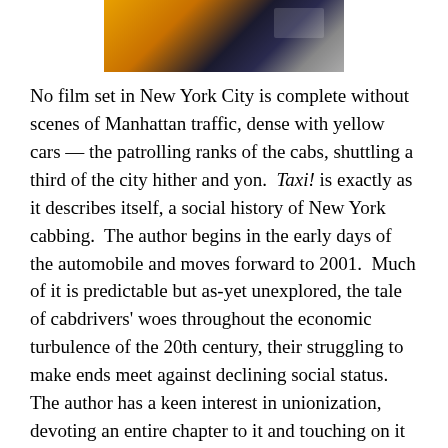[Figure (photo): Partial image of New York City taxi cabs, showing yellow and dark colored vehicles from above/side angle]
No film set in New York City is complete without scenes of Manhattan traffic, dense with yellow cars — the patrolling ranks of the cabs, shuttling a third of the city hither and yon.  Taxi! is exactly as it describes itself, a social history of New York cabbing.  The author begins in the early days of the automobile and moves forward to 2001.  Much of it is predictable but as-yet unexplored, the tale of cabdrivers' woes throughout the economic turbulence of the 20th century, their struggling to make ends meet against declining social status.  The author has a keen interest in unionization, devoting an entire chapter to it and touching on it several other times.   He sees a failure to successfully unionize as part of static or declining fortunes among cab drivers, although the failure is less political than structural.  Cabs are not factories, and the abundance